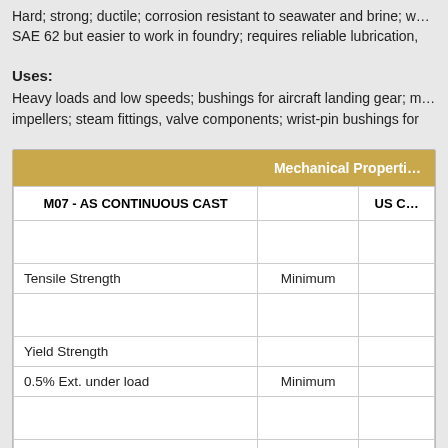Hard; strong; ductile; corrosion resistant to seawater and brine; w... SAE 62 but easier to work in foundry; requires reliable lubrication,
Uses:
Heavy loads and low speeds; bushings for aircraft landing gear; m... impellers; steam fittings, valve components; wrist-pin bushings for
| M07 - AS CONTINUOUS CAST |  | US C... |
| --- | --- | --- |
|  |  |  |
| Tensile Strength | Minimum |  |
|  |  |  |
| Yield Strength |  |  |
| 0.5% Ext. under load | Minimum |  |
|  |  |  |
| Elongation | Minimum | 18 9... |
C90500/SAE 62 - Typical Uses